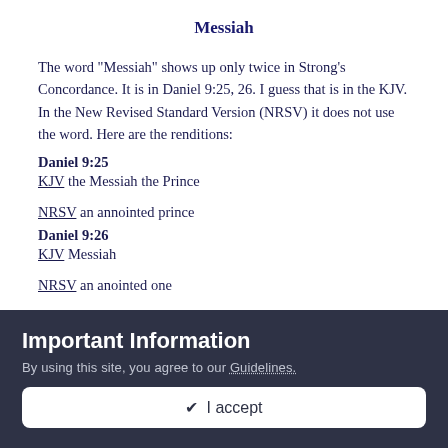Messiah
The word "Messiah" shows up only twice in Strong's Concordance. It is in Daniel 9:25, 26. I guess that is in the KJV. In the New Revised Standard Version (NRSV) it does not use the word. Here are the renditions:
Daniel 9:25
KJV the Messiah the Prince
NRSV an annointed prince
Daniel 9:26
KJV Messiah
NRSV an anointed one
Messias
The word Messias also shows up twice in Strong's Concordance.
Important Information
By using this site, you agree to our Guidelines.
✔ I accept